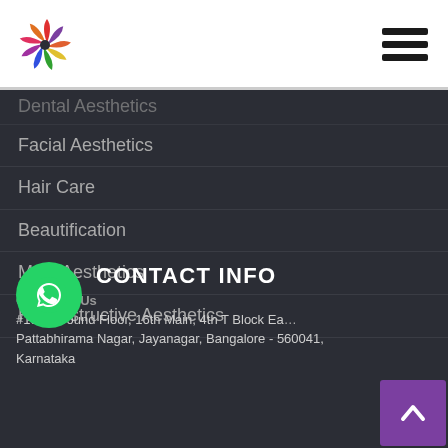[Figure (logo): Colorful pinwheel/starburst logo in red, purple, yellow colors]
[Figure (other): Hamburger menu icon (three horizontal black lines)]
Dental Aesthetics (partially visible, cut off at top)
Facial Aesthetics
Hair Care
Beautification
Male Aesthetics
Reconstructive Aesthetics
CONTACT INFO
Chat With Us
#192, Ground Floor, 16th Main, 4th T Block East, Pattabhirama Nagar, Jayanagar, Bangalore - 560041, Karnataka